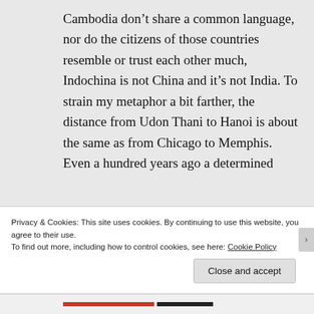Cambodia don't share a common language, nor do the citizens of those countries resemble or trust each other much, Indochina is not China and it's not India. To strain my metaphor a bit farther, the distance from Udon Thani to Hanoi is about the same as from Chicago to Memphis. Even a hundred years ago a determined
Privacy & Cookies: This site uses cookies. By continuing to use this website, you agree to their use.
To find out more, including how to control cookies, see here: Cookie Policy
Close and accept